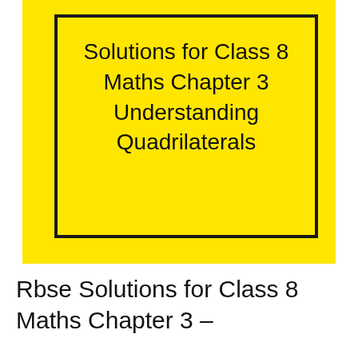[Figure (illustration): Yellow cover image with black border box containing the text 'Solutions for Class 8 Maths Chapter 3 Understanding Quadrilaterals' centered inside]
Rbse Solutions for Class 8 Maths Chapter 3 –